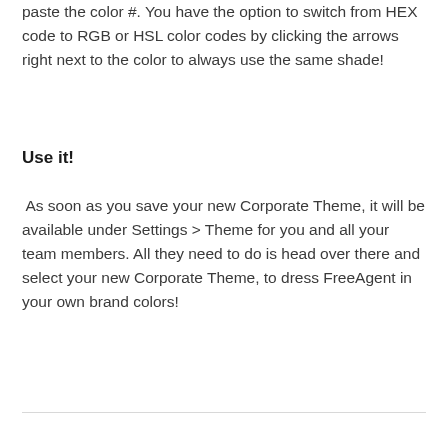paste the color #. You have the option to switch from HEX code to RGB or HSL color codes by clicking the arrows right next to the color to always use the same shade!
Use it!
As soon as you save your new Corporate Theme, it will be available under Settings > Theme for you and all your team members. All they need to do is head over there and select your new Corporate Theme, to dress FreeAgent in your own brand colors!